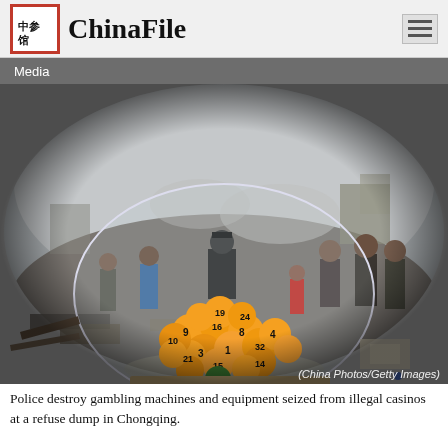ChinaFile
Media
[Figure (photo): Fisheye lens photograph showing police destroying gambling machines and lottery ball equipment at a refuse dump in Chongqing. Orange numbered lottery balls are piled in the foreground inside a clear globe/drum. A police officer in uniform stands in the background surrounded by onlookers and debris.]
(China Photos/Getty Images)
Police destroy gambling machines and equipment seized from illegal casinos at a refuse dump in Chongqing.